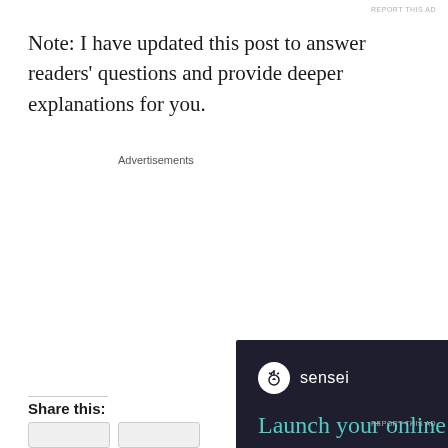REPORT THIS AD
Note: I have updated this post to answer readers' questions and provide deeper explanations for you.
Advertisements
[Figure (screenshot): Advertisement for Sensei plugin on a dark background. Shows the Sensei logo (white circle with tree icon), brand name 'sensei', headline 'Launch your online course with WordPress' in teal, a teal 'Learn More' button, and 'Powered by WordPress.com' at the bottom.]
REPORT THIS AD
Share this: